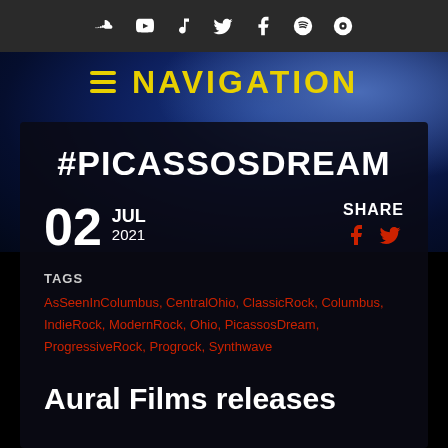Social media icon bar: SoundCloud, YouTube, Music, Twitter, Facebook, Spotify, Podcast
≡ NAVIGATION
#PICASSOSDREAM
02 JUL 2021
SHARE
TAGS
AsSeenInColumbus, CentralOhio, ClassicRock, Columbus, IndieRock, ModernRock, Ohio, PicassosDream, ProgressiveRock, Progrock, Synthwave
Aural Films releases